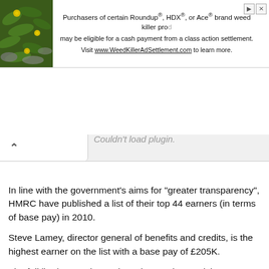[Figure (other): Advertisement banner: photo of green plant with yellow flowers on left; text 'Purchasers of certain Roundup®, HDX®, or Ace® brand weed killer products may be eligible for a cash payment from a class action settlement. Visit www.WeedKillerAdSettlement.com to learn more.' with close/info icons on right.]
[Figure (screenshot): Browser chrome showing a back-arrow tab interface element.]
Couldn't load plugin.
In line with the government's aims for "greater transparency", HMRC have published a list of their top 44 earners (in terms of base pay) in 2010.
Steve Lamey, director general of benefits and credits, is the highest earner on the list with a base pay of £205K.
The full list (on a rather awkward to read spreadsheet - you have to click on some of the cells to actually read the full